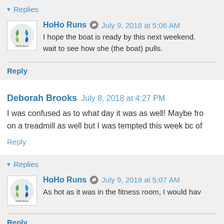▾ Replies
HoHo Runs ✎ July 9, 2018 at 5:06 AM
I hope the boat is ready by this next weekend. wait to see how she (the boat) pulls.
Reply
Deborah Brooks July 8, 2018 at 4:27 PM
I was confused as to what day it was as well! Maybe fro on a treadmill as well but I was tempted this week bc of
Reply
▾ Replies
HoHo Runs ✎ July 9, 2018 at 5:07 AM
As hot as it was in the fitness room, I would hav
Reply